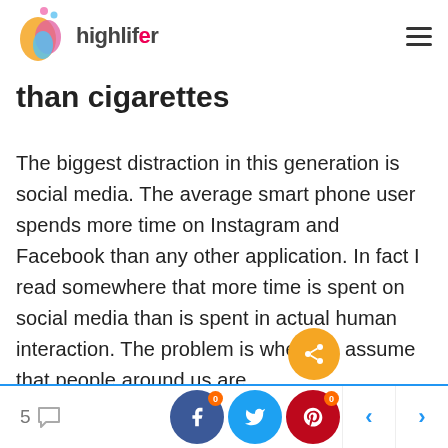highlifer
than cigarettes
The biggest distraction in this generation is social media. The average smart phone user spends more time on Instagram and Facebook than any other application. In fact I read somewhere that more time is spent on social media than is spent in actual human interaction. The problem is when we assume that people around us are
5 [comments] [Facebook 0] [Twitter] [Pinterest 0] [< >]